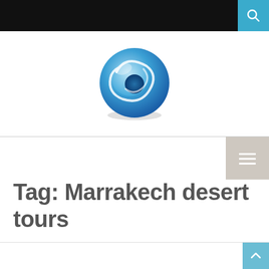[Figure (logo): Circular blue globe/swirl logo — travel website logo]
Tag: Marrakech desert tours